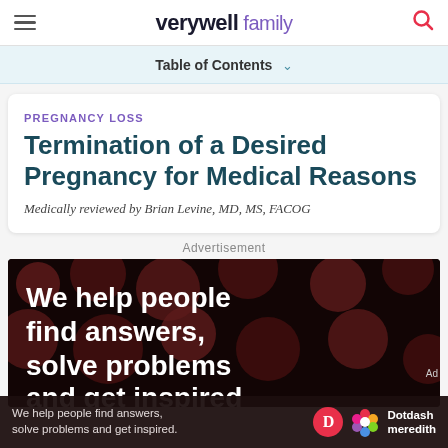verywell family
Table of Contents
PREGNANCY LOSS
Termination of a Desired Pregnancy for Medical Reasons
Medically reviewed by Brian Levine, MD, MS, FACOG
Advertisement
[Figure (photo): Advertisement banner showing text 'We help people find answers, solve problems and get inspired' on dark background with dark red dot pattern]
We help people find answers, solve problems and get inspired. Dotdash meredith